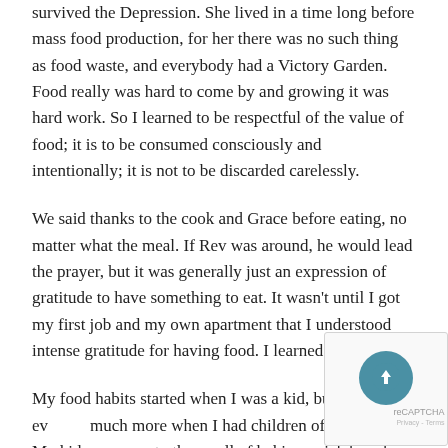survived the Depression. She lived in a time long before mass food production, for her there was no such thing as food waste, and everybody had a Victory Garden. Food really was hard to come by and growing it was hard work. So I learned to be respectful of the value of food; it is to be consumed consciously and intentionally; it is not to be discarded carelessly.
We said thanks to the cook and Grace before eating, no matter what the meal. If Rev was around, he would lead the prayer, but it was generally just an expression of gratitude to have something to eat. It wasn't until I got my first job and my own apartment that I understood intense gratitude for having food. I learned appreciation.
My food habits started when I was a kid, but they ev... much more when I had children of my own. My kids w... up to the smell of baking quick breads, muffins, or even